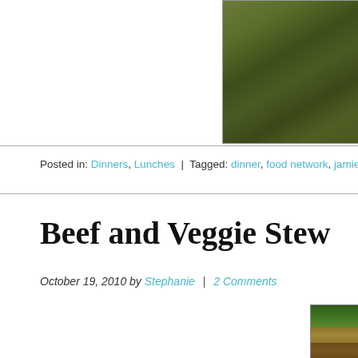[Figure (photo): Partial top image showing dark green/olive colored food or surface, cropped at top of page]
Posted in: Dinners, Lunches  |  Tagged: dinner, food network, jamie oliver, le cre...
Beef and Veggie Stew
October 19, 2010 by Stephanie  |  2 Comments
[Figure (photo): Food photo showing beef and veggie stew with greens (arugula) on top and diced vegetables, served on a plate]